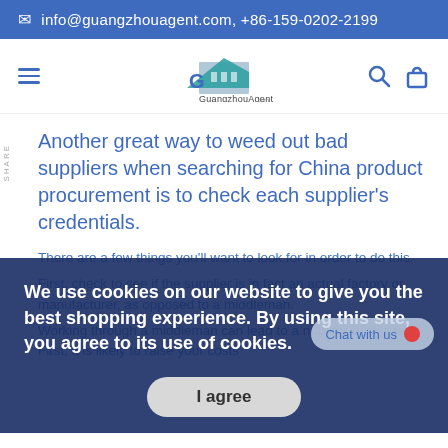info@guangzhouagent.com, +86-159-0202-2199
[Figure (logo): GuangzhouAgent logo with building icon]
Another great way to weed out bad suppliers when searching for China product procurement is to check each supplier's credentials.
There are a few things you'll want to look for in order to do this.
First, check to see if the supplier is in fact an actual factory or manufacturer, as opposed to a middleman.
Working through a middleman can lead to a number of problems. First, it is likely to raise your costs
We use cookies on our website to give you the best shopping experience. By using this site, you agree to its use of cookies.